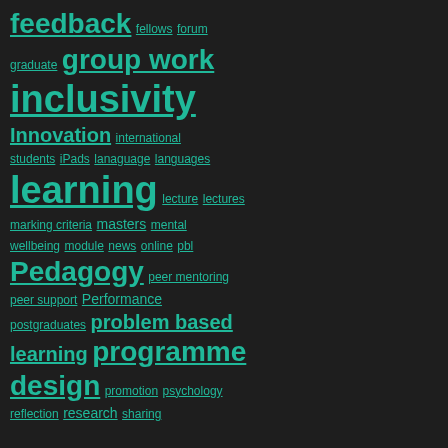[Figure (infographic): Tag cloud on dark background with teal/green hyperlinked terms of varying sizes related to education topics: feedback, fellows, forum, graduate, group work, inclusivity, Innovation, international students, iPads, lanaguage, languages, learning, lecture, lectures, marking criteria, masters, mental wellbeing, module, news, online, pbl, Pedagogy, peer mentoring, peer support, Performance, postgraduates, problem based learning, programme design, promotion, psychology, reflection, research, sharing]